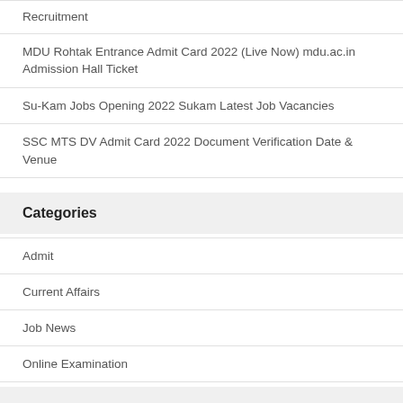Recruitment
MDU Rohtak Entrance Admit Card 2022 (Live Now) mdu.ac.in Admission Hall Ticket
Su-Kam Jobs Opening 2022 Sukam Latest Job Vacancies
SSC MTS DV Admit Card 2022 Document Verification Date & Venue
Categories
Admit
Current Affairs
Job News
Online Examination
Results
The Hindu Vocabulary